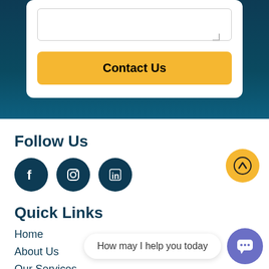[Figure (screenshot): Textarea input field with resize handle in a white form card on dark blue background]
Contact Us
Follow Us
[Figure (illustration): Three social media icons: Facebook, Instagram, LinkedIn — white icons on dark teal circular backgrounds]
Quick Links
Home
About Us
Our Services
[Figure (illustration): Yellow circular scroll-to-top button with upward arrow]
How may I help you today
[Figure (illustration): Purple circular chat button with speech bubble icon]